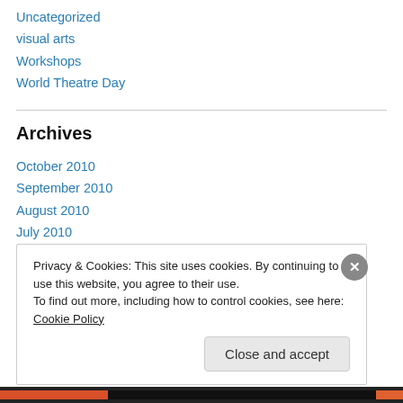Uncategorized
visual arts
Workshops
World Theatre Day
Archives
October 2010
September 2010
August 2010
July 2010
June 2010
May 2010
Privacy & Cookies: This site uses cookies. By continuing to use this website, you agree to their use. To find out more, including how to control cookies, see here: Cookie Policy